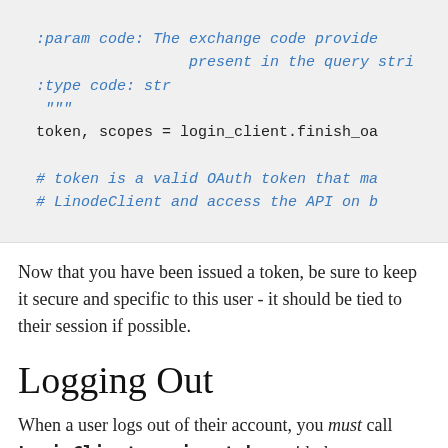[Figure (screenshot): Code block showing Python docstring with :param code, :type code: str, triple quotes, token/scopes assignment, and comments about OAuth token]
Now that you have been issued a token, be sure to keep it secure and specific to this user - it should be tied to their session if possible.
Logging Out
When a user logs out of their account, you must call LoginClient.expire_token with the to[ken from your] application. This will invalidate the OAuth token the user generated by logging in, which will completely revoke their [access. Simply invalidating their session is not a redirect...]